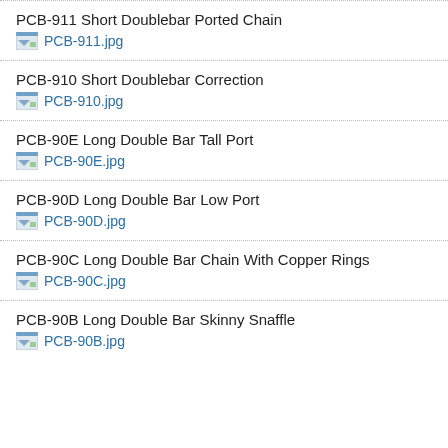PCB-911 Short Doublebar Ported Chain
PCB-911.jpg
PCB-910 Short Doublebar Correction
PCB-910.jpg
PCB-90E Long Double Bar Tall Port
PCB-90E.jpg
PCB-90D Long Double Bar Low Port
PCB-90D.jpg
PCB-90C Long Double Bar Chain With Copper Rings
PCB-90C.jpg
PCB-90B Long Double Bar Skinny Snaffle
PCB-90B.jpg